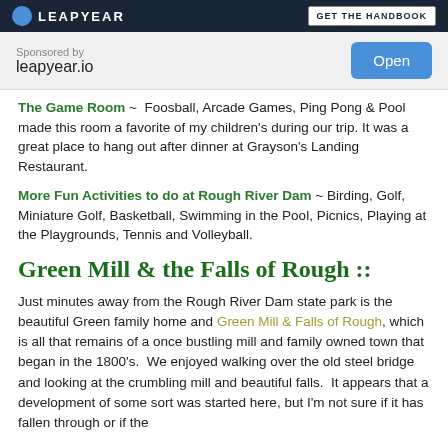[Figure (other): Advertisement banner for leapyear.io with dark navy header showing LEAPYEAR logo and GET THE HANDBOOK button, and a body showing 'Sponsored by leapyear.io' text with an Open button]
The Game Room ~ Foosball, Arcade Games, Ping Pong & Pool made this room a favorite of my children's during our trip. It was a great place to hang out after dinner at Grayson's Landing Restaurant.
More Fun Activities to do at Rough River Dam ~ Birding, Golf, Miniature Golf, Basketball, Swimming in the Pool, Picnics, Playing at the Playgrounds, Tennis and Volleyball.
Green Mill & the Falls of Rough ::
Just minutes away from the Rough River Dam state park is the beautiful Green family home and Green Mill & Falls of Rough, which is all that remains of a once bustling mill and family owned town that began in the 1800's. We enjoyed walking over the old steel bridge and looking at the crumbling mill and beautiful falls. It appears that a development of some sort was started here, but I'm not sure if it has fallen through or if the